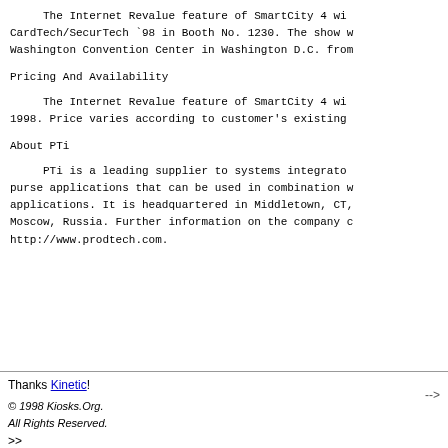The Internet Revalue feature of SmartCity 4 wi... CardTech/SecurTech `98 in Booth No. 1230. The show w... Washington Convention Center in Washington D.C. from...
Pricing And Availability
The Internet Revalue feature of SmartCity 4 wi... 1998. Price varies according to customer's existing...
About PTi
PTi is a leading supplier to systems integrato... purse applications that can be used in combination w... applications. It is headquartered in Middletown, CT,... Moscow, Russia. Further information on the company c... http://www.prodtech.com.
Thanks Kinetic! © 1998 Kiosks.Org. All Rights Reserved. > >  -->